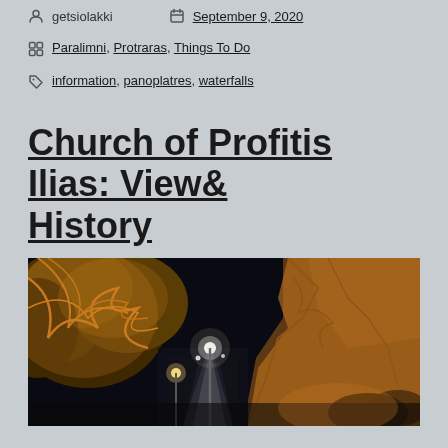getsiolakki   September 9, 2020
Paralimni, Protraras, Things To Do
information, panoplatres, waterfalls
Church of Profitis Ilias: View& History
[Figure (photo): Night photograph of Church of Profitis Ilias area showing illuminated trees and rocky cliffs with lights]